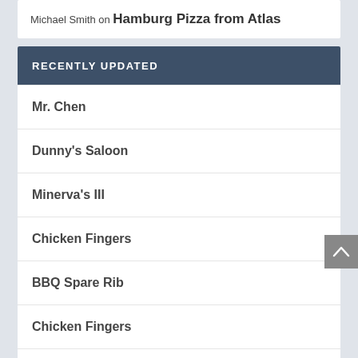Michael Smith on Hamburg Pizza from Atlas
RECENTLY UPDATED
Mr. Chen
Dunny's Saloon
Minerva's III
Chicken Fingers
BBQ Spare Rib
Chicken Fingers
Meat Pie